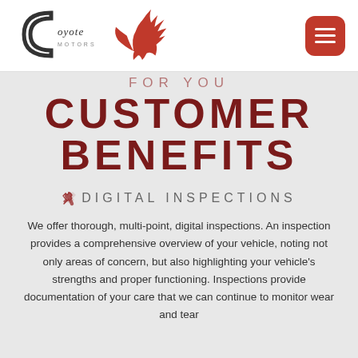[Figure (logo): Coyote Motors logo with stylized C shape and howling coyote silhouette in red]
FOR YOU
CUSTOMER BENEFITS
✂ DIGITAL INSPECTIONS
We offer thorough, multi-point, digital inspections. An inspection provides a comprehensive overview of your vehicle, noting not only areas of concern, but also highlighting your vehicle's strengths and proper functioning. Inspections provide documentation of your care that we can continue to monitor wear and tear...